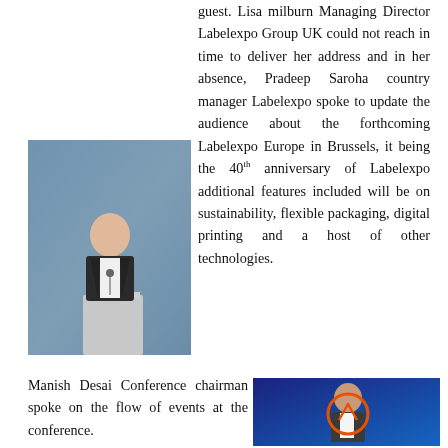guest. Lisa milburn Managing Director Labelexpo Group UK could not reach in time to deliver her address and in her absence, Pradeep Saroha country manager Labelexpo spoke to update the audience about the forthcoming Labelexpo Europe in Brussels, it being the 40th anniversary of Labelexpo additional features included will be on sustainability, flexible packaging, digital printing and a host of other technologies.
[Figure (photo): A man in a dark suit speaking at a podium with a microphone, against a blue/purple background]
[Figure (photo): A man speaking at a conference against a blue background, with a circular orange arrow overlay]
Manish Desai Conference chairman spoke on the flow of events at the conference.